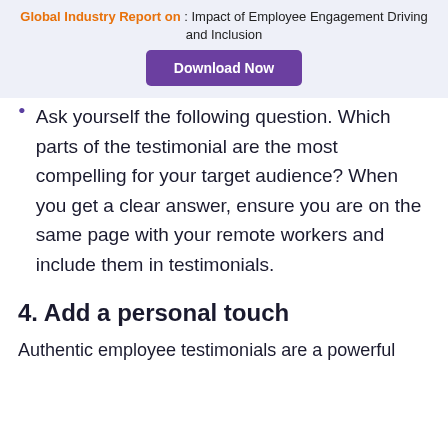Global Industry Report on : Impact of Employee Engagement Driving and Inclusion
Ask yourself the following question. Which parts of the testimonial are the most compelling for your target audience? When you get a clear answer, ensure you are on the same page with your remote workers and include them in testimonials.
4. Add a personal touch
Authentic employee testimonials are a powerful